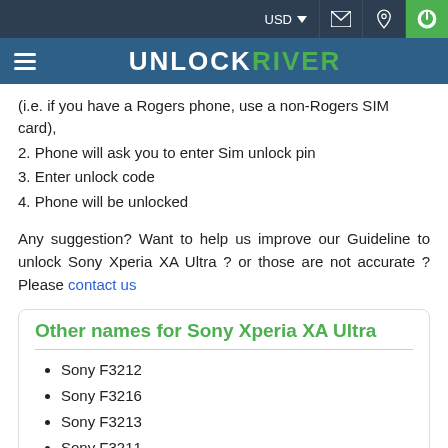USD | [mail icon] | [location icon] | [power icon]
UNLOCK RIVER
(i.e. if you have a Rogers phone, use a non-Rogers SIM card),
2. Phone will ask you to enter Sim unlock pin
3. Enter unlock code
4. Phone will be unlocked
Any suggestion? Want to help us improve our Guideline to unlock Sony Xperia XA Ultra ? or those are not accurate ? Please contact us
Other names for Sony Xperia XA Ultra
Sony F3212
Sony F3216
Sony F3213
Sony F3211